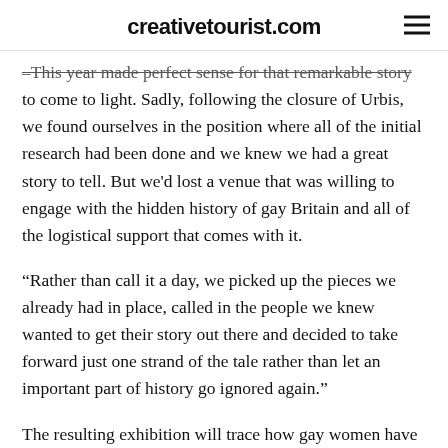creativetourist.com
–This year made perfect sense for that remarkable story to come to light. Sadly, following the closure of Urbis, we found ourselves in the position where all of the initial research had been done and we knew we had a great story to tell. But we'd lost a venue that was willing to engage with the hidden history of gay Britain and all of the logistical support that comes with it.
“Rather than call it a day, we picked up the pieces we already had in place, called in the people we knew wanted to get their story out there and decided to take forward just one strand of the tale rather than let an important part of history go ignored again.”
The resulting exhibition will trace how gay women have shaken up everything from activism and politics to club culture and entrepreneurialism, with participants